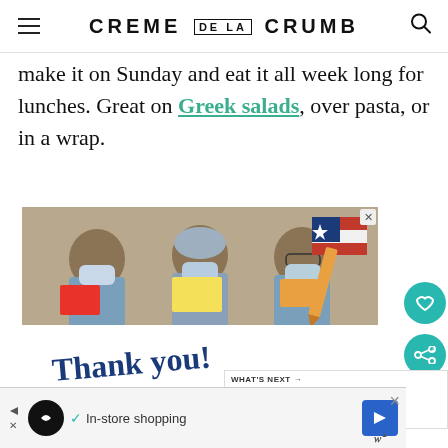CREME DE LA CRUMB
make it on Sunday and eat it all week long for lunches. Great on Greek salads, over pasta, or in a wrap.
[Figure (photo): Advertisement from Operation Gratitude showing three healthcare workers in scrubs and masks holding thank you cards, with text 'Thank you! SHOW THEM YOUR SUPPORT OPERATION GRATITUDE']
WHAT'S NEXT → Baked Honey Sriracha Lim...
✓ In-store shopping